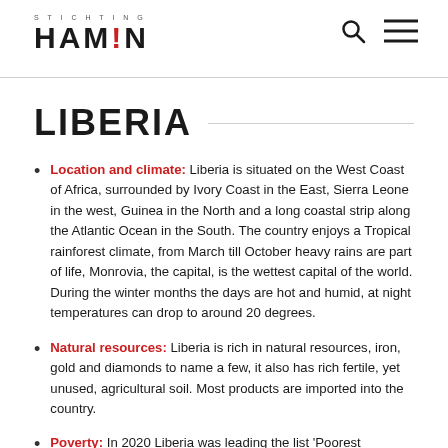STICHTING HAMIN
LIBERIA
Location and climate: Liberia is situated on the West Coast of Africa, surrounded by Ivory Coast in the East, Sierra Leone in the west, Guinea in the North and a long coastal strip along the Atlantic Ocean in the South. The country enjoys a Tropical rainforest climate, from March till October heavy rains are part of life, Monrovia, the capital, is the wettest capital of the world. During the winter months the days are hot and humid, at night temperatures can drop to around 20 degrees.
Natural resources: Liberia is rich in natural resources, iron, gold and diamonds to name a few, it also has rich fertile, yet unused, agricultural soil. Most products are imported into the country.
Poverty: In 2020 Liberia was leading the list 'Poorest...